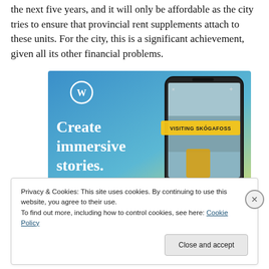the next five years, and it will only be affordable as the city tries to ensure that provincial rent supplements attach to these units. For the city, this is a significant achievement, given all its other financial problems.
[Figure (screenshot): WordPress advertisement showing 'Create immersive stories.' text with a smartphone displaying a waterfall travel blog post titled 'VISITING SKÓGAFOSS', on a blue-green gradient background with WordPress logo.]
Privacy & Cookies: This site uses cookies. By continuing to use this website, you agree to their use.
To find out more, including how to control cookies, see here: Cookie Policy
Close and accept